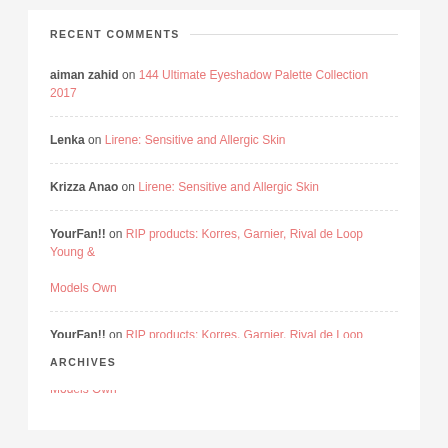RECENT COMMENTS
aiman zahid on 144 Ultimate Eyeshadow Palette Collection 2017
Lenka on Lirene: Sensitive and Allergic Skin
Krizza Anao on Lirene: Sensitive and Allergic Skin
YourFan!! on RIP products: Korres, Garnier, Rival de Loop Young & Models Own
YourFan!! on RIP products: Korres, Garnier, Rival de Loop Young & Models Own
ARCHIVES